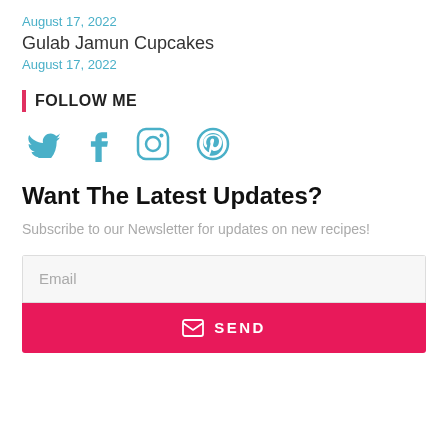August 17, 2022
Gulab Jamun Cupcakes
August 17, 2022
FOLLOW ME
[Figure (infographic): Social media icons: Twitter bird, Facebook f, Instagram camera outline, Pinterest p circle — all in teal/blue color]
Want The Latest Updates?
Subscribe to our Newsletter for updates on new recipes!
Email
SEND